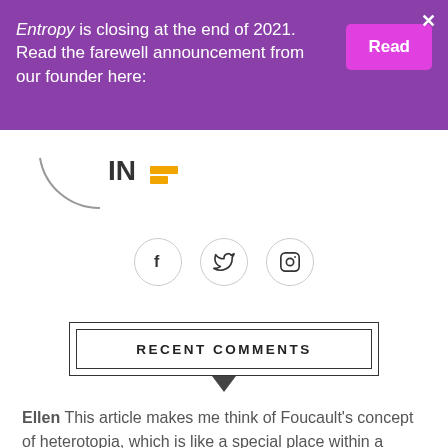Entropy is closing at the end of 2021. Read the farewell announcement from our founder here:
Read
[Figure (logo): Partial circular logo with text 'IN' and yellow/orange element]
[Figure (infographic): Social media icons: Facebook (f), Twitter (bird), Instagram (camera) in circular outlines]
RECENT COMMENTS
Ellen This article makes me think of Foucault's concept of heterotopia, which is like a special place within a broader discursive space that has